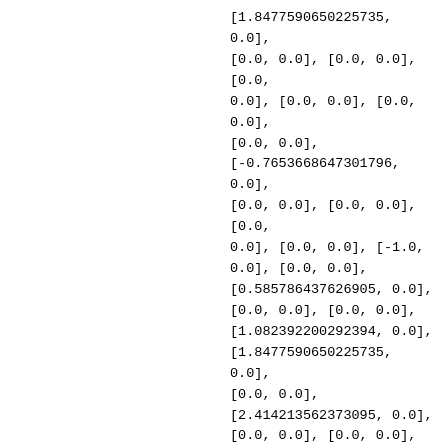[1.8477590650225735, 0.0], [0.0, 0.0], [0.0, 0.0], [0.0, 0.0], [0.0, 0.0], [0.0, 0.0], [0.0, 0.0], [-0.7653668647301796, 0.0], [0.0, 0.0], [0.0, 0.0], [0.0, 0.0], [0.0, 0.0], [0.0, 0.0], [-1.0, 0.0], [0.0, 0.0], [0.585786437626905, 0.0], [0.0, 0.0], [0.0, 0.0], [1.082392200292394, 0.0], [1.8477590650225735, 0.0], [0.0, 0.0], [2.414213562373095, 0.0], [0.0, 0.0], [0.0, 0.0], [0.7653668647301796, 0.0], [0.7653668647301796, 0.0], [-1.4142135623730951, 0.0], [0.0, 0.0], [0.0, 0.0], [0.0, 0.0], [0.0, 0.0], [0.585786437626905,